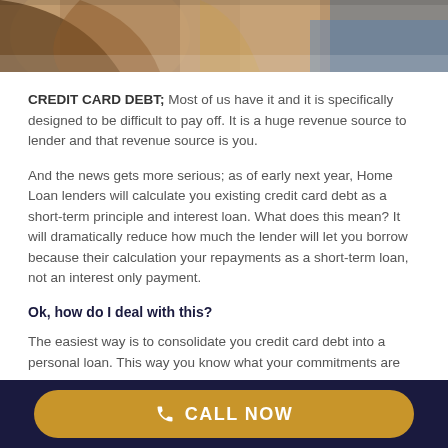[Figure (photo): Photo strip showing people at the top of the page, partially cropped]
CREDIT CARD DEBT; Most of us have it and it is specifically designed to be difficult to pay off. It is a huge revenue source to lender and that revenue source is you.
And the news gets more serious; as of early next year, Home Loan lenders will calculate you existing credit card debt as a short-term principle and interest loan. What does this mean? It will dramatically reduce how much the lender will let you borrow because their calculation your repayments as a short-term loan, not an interest only payment.
Ok, how do I deal with this?
The easiest way is to consolidate you credit card debt into a personal loan. This way you know what your commitments are and when the loan will be paid off.
CALL NOW